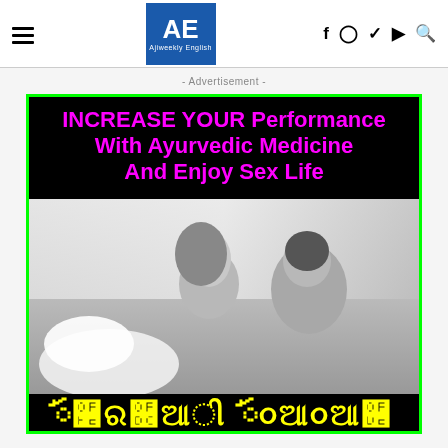AE Ajiweekly English — with social icons: f, instagram, twitter, youtube, search
- Advertisement -
[Figure (advertisement): Advertisement banner with black background and bright magenta/neon pink bold text reading: INCREASE YOUR Performance With Ayurvedic Medicine And Enjoy Sex Life, with a grayscale photo of a couple below, and Punjabi/Gurumukhi yellow text at the bottom. Green border around entire ad.]